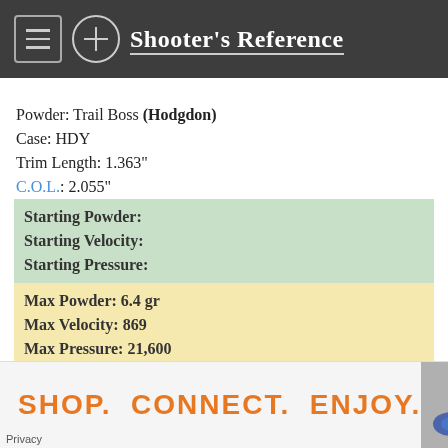Shooter's Reference
Powder: Trail Boss (Hodgdon)
Case: HDY
Trim Length: 1.363"
C.O.L.: 2.055"
Starting Powder:
Starting Velocity:
Starting Pressure:
Max Powder: 6.4 gr
Max Velocity: 869
Max Pressure: 21,600
Source: Hodgdon
SHOP.  CONNECT.  ENJOY.
Privacy